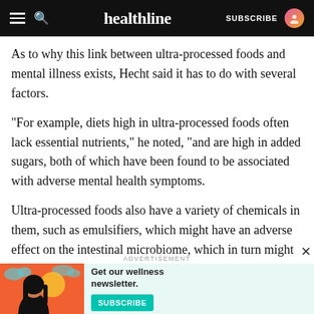healthline — SUBSCRIBE
As to why this link between ultra-processed foods and mental illness exists, Hecht said it has to do with several factors.
“For example, diets high in ultra-processed foods often lack essential nutrients,” he noted, “and are high in added sugars, both of which have been found to be associated with adverse mental health symptoms.
Ultra-processed foods also have a variety of chemicals in them, such as emulsifiers, which might have an adverse effect on the intestinal microbiome, which in turn might lead to inflammation throughout the body,
[Figure (illustration): Advertisement banner for Healthline wellness newsletter featuring an illustrated woman with black hair against an orange/red background with teal clouds. Text reads 'Get our wellness newsletter.' with a teal SUBSCRIBE button.]